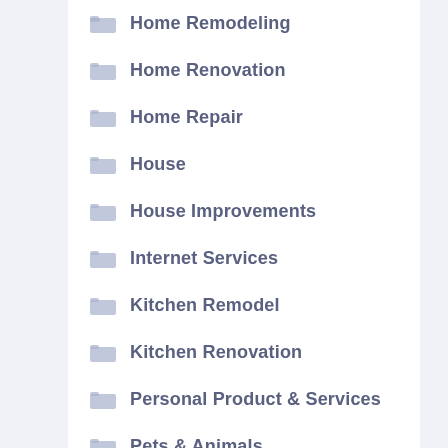Home Remodeling
Home Renovation
Home Repair
House
House Improvements
Internet Services
Kitchen Remodel
Kitchen Renovation
Personal Product & Services
Pets & Animals
Real Estate
Relationships